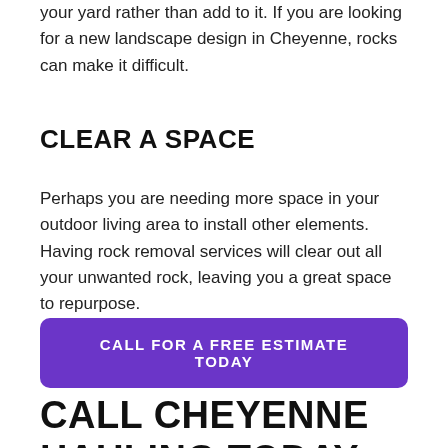your yard rather than add to it. If you are looking for a new landscape design in Cheyenne, rocks can make it difficult.
CLEAR A SPACE
Perhaps you are needing more space in your outdoor living area to install other elements. Having rock removal services will clear out all your unwanted rock, leaving you a great space to repurpose.
CALL FOR A FREE ESTIMATE TODAY
CALL CHEYENNE HAULING TODAY